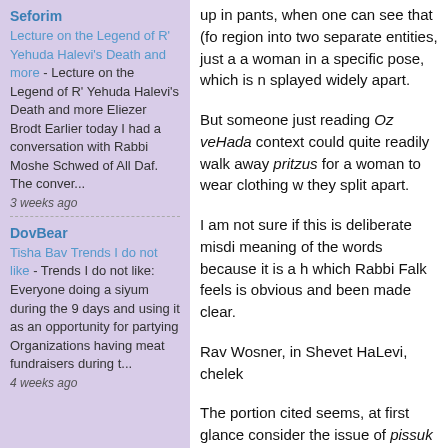Seforim - Lecture on the Legend of R' Yehuda Halevi's Death and more - Lecture on the Legend of R' Yehuda Halevi's Death and more Eliezer Brodt Earlier today I had a conversation with Rabbi Moshe Schwed of All Daf. The conver... 3 weeks ago
DovBear - Tisha Bav Trends I do not like - Trends I do not like: Everyone doing a siyum during the 9 days and using it as an opportunity for partying Organizations having meat fundraisers during t... 4 weeks ago
up in pants, when one can see that (fo region into two separate entities, just a a woman in a specific pose, which is n splayed widely apart.
But someone just reading Oz veHada context could quite readily walk away pritzus for a woman to wear clothing w they split apart.
I am not sure if this is deliberate misdi meaning of the words because it is a h which Rabbi Falk feels is obvious and been made clear.
Rav Wosner, in Shevet HaLevi, chelek
The portion cited seems, at first glance consider the issue of pissuk raglayim t problem because of that which Rabbi wrote in the paragraph beginning "som Poskim." That is, it is tikkunei digavrei in previous generations, women did no